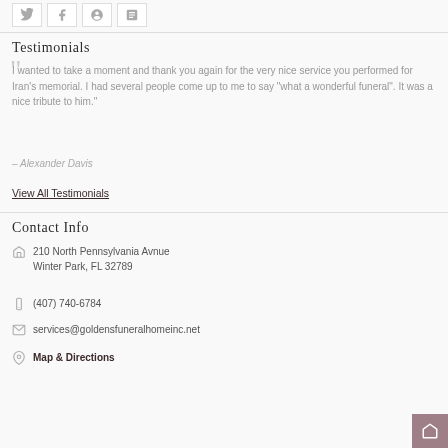[Figure (other): Four social media icon buttons (Twitter, Facebook, Google+, another) in small white bordered boxes]
Testimonials
I wanted to take a moment and thank you again for the very nice service you performed for Iran's memorial. I had several people come up to me to say "what a wonderful funeral". It was a nice tribute to him.
– Alexander Davis
View All Testimonials
Contact Info
210 North Pennsylvania Avnue
Winter Park, FL 32789
(407) 740-6784
services@goldensfuneralhomeinc.net
Map & Directions